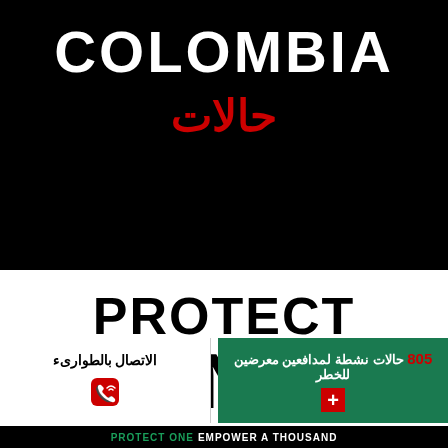COLOMBIA
حالات
[Figure (infographic): Large bold text reading PROTECT ONE partially visible, black text on white background]
الاتصال بالطوارىء
805 حالات نشطة لمدافعين معرضين للخطر
PROTECT ONE EMPOWER A THOUSAND